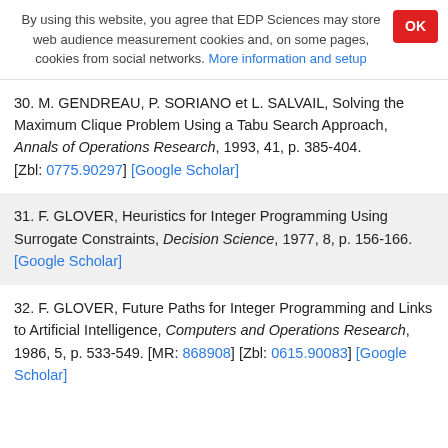By using this website, you agree that EDP Sciences may store web audience measurement cookies and, on some pages, cookies from social networks. More information and setup
30. M. GENDREAU, P. SORIANO et L. SALVAIL, Solving the Maximum Clique Problem Using a Tabu Search Approach, Annals of Operations Research, 1993, 41, p. 385-404. [Zbl: 0775.90297] [Google Scholar]
31. F. GLOVER, Heuristics for Integer Programming Using Surrogate Constraints, Decision Science, 1977, 8, p. 156-166. [Google Scholar]
32. F. GLOVER, Future Paths for Integer Programming and Links to Artificial Intelligence, Computers and Operations Research, 1986, 5, p. 533-549. [MR: 868908] [Zbl: 0615.90083] [Google Scholar]